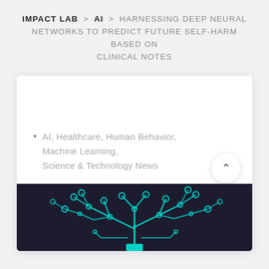IMPACT LAB > AI > HARNESSING DEEP NEURAL NETWORKS TO PREDICT FUTURE SELF-HARM BASED ON CLINICAL NOTES
AI, Healthcare, Human Behavior, Machine Learning, Science & Technology News
[Figure (illustration): A circuit board tree illustration with teal/cyan colored circuit traces branching upward like a tree, on a dark background]